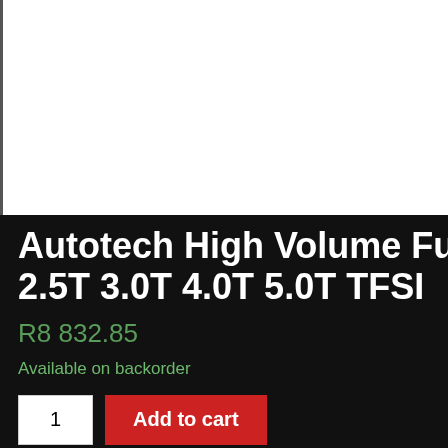[Figure (photo): Product image area — white background, partially visible, cropped at top]
Autotech High Volume Fu 2.5T 3.0T 4.0T 5.0T TFSI
R8 832.85
Available on backorder
1  Add to cart